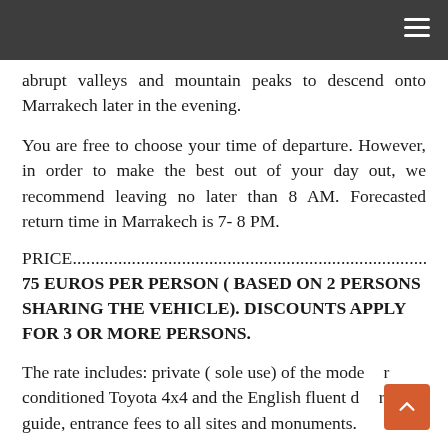≡
abrupt valleys and mountain peaks to descend onto Marrakech later in the evening.
You are free to choose your time of departure. However, in order to make the best out of your day out, we recommend leaving no later than 8 AM. Forecasted return time in Marrakech is 7- 8 PM.
PRICE............................................................................................
75 EUROS PER PERSON ( BASED ON 2 PERSONS SHARING THE VEHICLE). DISCOUNTS APPLY FOR 3 OR MORE PERSONS.
The rate includes: private ( sole use) of the modern air conditioned Toyota 4x4 and the English fluent driver-guide, entrance fees to all sites and monuments.